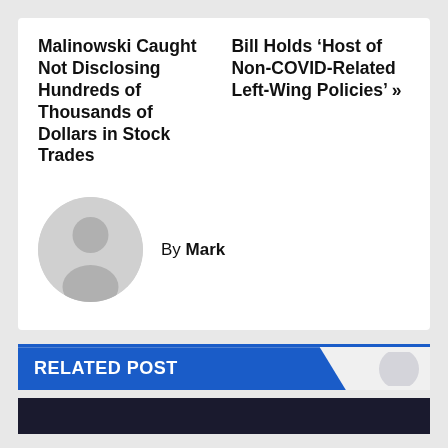Malinowski Caught Not Disclosing Hundreds of Thousands of Dollars in Stock Trades
Bill Holds ‘Host of Non-COVID-Related Left-Wing Policies’ »
By Mark
[Figure (illustration): Generic user avatar: gray circle with silhouette of a person (head and shoulders)]
RELATED POST